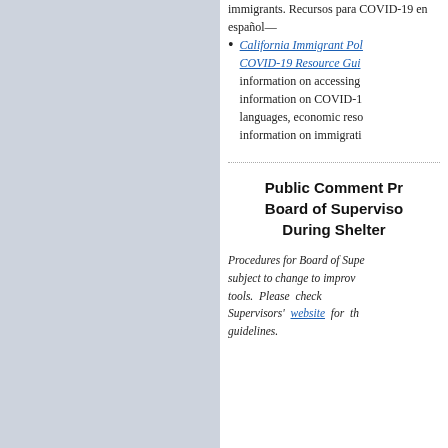immigrants. Recursos para COVID-19 en español—
California Immigrant Policy Center COVID-19 Resource Guide — information on accessing information on COVID-19 in multiple languages, economic resources, and information on immigration.
Public Comment Pr... Board of Superviso... During Shelter...
Procedures for Board of Supe... subject to change to improv... tools. Please check ... Supervisors' website for th... guidelines.